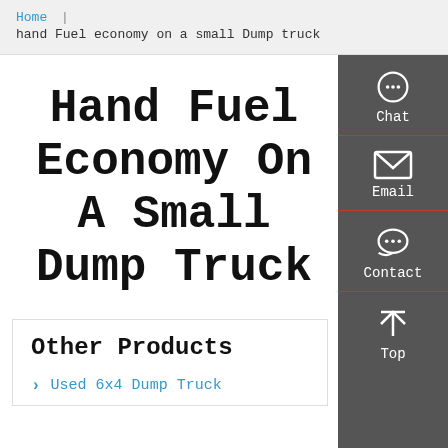Home | hand Fuel economy on a small Dump truck
Hand Fuel Economy On A Small Dump Truck
Other Products
Used 6x4 Dump Truck